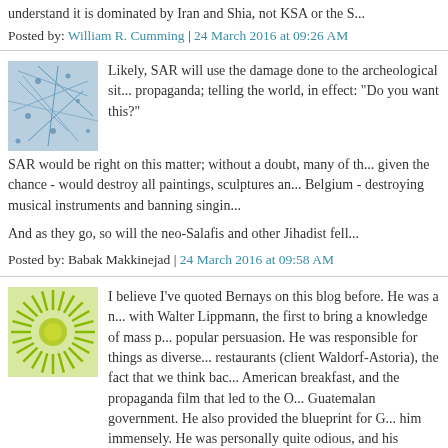understand it is dominated by Iran and Shia, not KSA or the S...
Posted by: William R. Cumming | 24 March 2016 at 09:26 AM
[Figure (photo): Blue abstract network avatar image]
Likely, SAR will use the damage done to the archeological sit... propaganda; telling the world, in effect: "Do you want this?"

SAR would be right on this matter; without a doubt, many of th... given the chance - would destroy all paintings, sculptures an... Belgium - destroying musical instruments and banning singin...

And as they go, so will the neo-Salafis and other Jihadist fell...
Posted by: Babak Makkinejad | 24 March 2016 at 09:58 AM
[Figure (photo): Green sunburst/radial pattern avatar image]
I believe I've quoted Bernays on this blog before. He was a n... with Walter Lippmann, the first to bring a knowledge of mass p... popular persuasion. He was responsible for things as diverse... restaurants (client Waldorf-Astoria), the fact that we think bac... American breakfast, and the propaganda film that led to the O... Guatemalan government. He also provided the blueprint for G... him immensely. He was personally quite odious, and his disda... ideals (such as the notion of freedom of choice) led to him be...